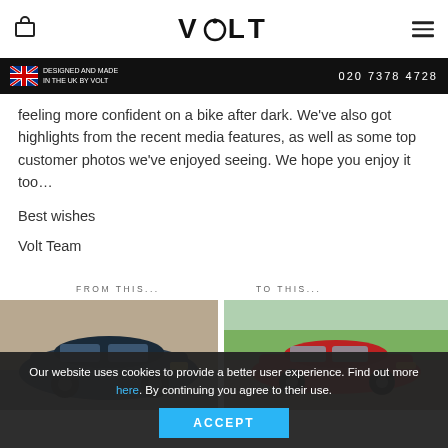VOLT
DESIGNED AND MADE IN THE UK BY VOLT | 020 7378 4728
feeling more confident on a bike after dark. We've also got highlights from the recent media features, as well as some top customer photos we've enjoyed seeing. We hope you enjoy it too…
Best wishes
Volt Team
[Figure (photo): Two car photos side by side. Left photo labeled 'FROM THIS...' showing a dark-colored car (possibly a Toyota MR2 or similar). Right photo labeled 'TO THIS...' showing a red classic Porsche 911.]
Our website uses cookies to provide a better user experience. Find out more here. By continuing you agree to their use.